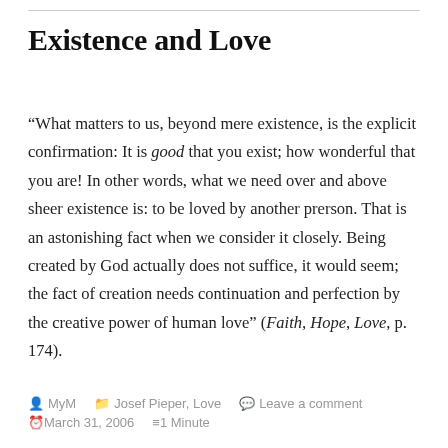Existence and Love
“What matters to us, beyond mere existence, is the explicit confirmation: It is good that you exist; how wonderful that you are! In other words, what we need over and above sheer existence is: to be loved by another prerson. That is an astonishing fact when we consider it closely. Being created by God actually does not suffice, it would seem; the fact of creation needs continuation and perfection by the creative power of human love” (Faith, Hope, Love, p. 174).
MyM   Josef Pieper, Love   Leave a comment
March 31, 2006   1 Minute